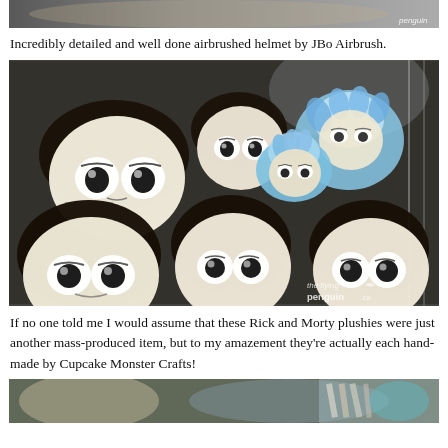[Figure (photo): Top partial image strip — cropped photo, appears to be an airbrushed helmet, mostly grey/cropped out. 'penguin' watermark visible at right.]
Incredibly detailed and well done airbrushed helmet by JBo Airbrush.
[Figure (photo): Photograph of a large collection of Rick and Morty character plush toys (plushies) displayed in a wire rack/bin. The plushies have large round cream-colored heads with dark brown hair and cartoon-style faces. Some blue plushies (Rick) are visible in the background. The flying penguin watermark is in the bottom-right corner.]
If no one told me I would assume that these Rick and Morty plushies were just another mass-produced item, but to my amazement they're actually each hand-made by Cupcake Monster Crafts!
[Figure (photo): Bottom partial image strip — cropped photo showing blurred colorful items, appears to be convention merchandise or crafts.]